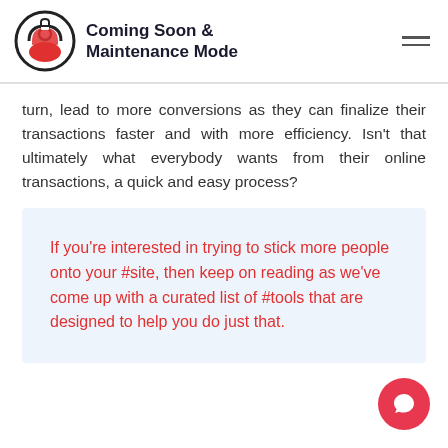Coming Soon & Maintenance Mode
turn, lead to more conversions as they can finalize their transactions faster and with more efficiency. Isn't that ultimately what everybody wants from their online transactions, a quick and easy process?
If you're interested in trying to stick more people onto your #site, then keep on reading as we've come up with a curated list of #tools that are designed to help you do just that.